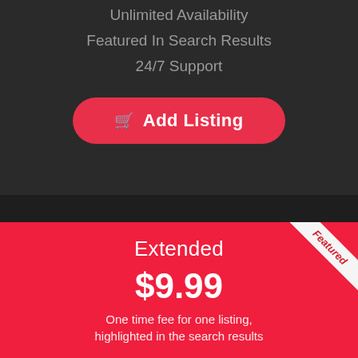Unlimited Availability
Featured In Search Results
24/7 Support
Add Listing
Extended
$9.99
One time fee for one listing, highlighted in the search results
Featured